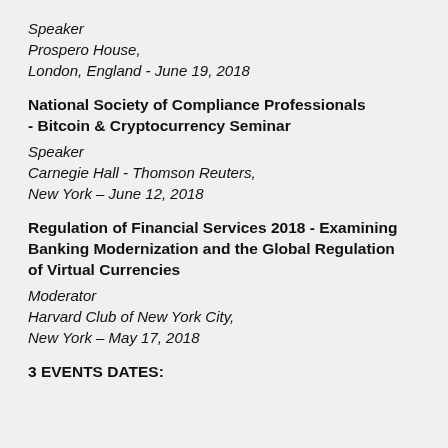Speaker
Prospero House,
London, England  - June 19, 2018
National Society of Compliance Professionals - Bitcoin & Cryptocurrency Seminar
Speaker
Carnegie Hall - Thomson Reuters,
New York – June 12, 2018
Regulation of Financial Services 2018 - Examining Banking Modernization and the Global Regulation of Virtual Currencies
Moderator
Harvard Club of New York City,
New York – May 17, 2018
3 EVENTS DATES: